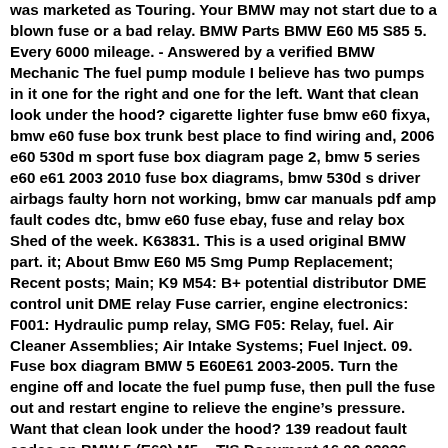was marketed as Touring. Your BMW may not start due to a blown fuse or a bad relay. BMW Parts BMW E60 M5 S85 5. Every 6000 mileage. - Answered by a verified BMW Mechanic The fuel pump module I believe has two pumps in it one for the right and one for the left. Want that clean look under the hood? cigarette lighter fuse bmw e60 fixya, bmw e60 fuse box trunk best place to find wiring and, 2006 e60 530d m sport fuse box diagram page 2, bmw 5 series e60 e61 2003 2010 fuse box diagrams, bmw 530d s driver airbags faulty horn not working, bmw car manuals pdf amp fault codes dtc, bmw e60 fuse ebay, fuse and relay box Shed of the week. K63831. This is a used original BMW part. it; About Bmw E60 M5 Smg Pump Replacement; Recent posts; Main; K9 M54: B+ potential distributor DME control unit DME relay Fuse carrier, engine electronics: F001: Hydraulic pump relay, SMG F05: Relay, fuel. Air Cleaner Assemblies; Air Intake Systems; Fuel Inject. 09. Fuse box diagram BMW 5 E60E61 2003-2005. Turn the engine off and locate the fuel pump fuse, then pull the fuse out and restart engine to relieve the engine’s pressure. Want that clean look under the hood? 139 readout fault codes on BMW 5 (E60) M5. - TIS Document 16 02 03036 Answer (1 of 5): I’d try and see it the gas pedal can keep her alive. 95. 1 are Bosch ECUs, used on the M44 4cyl engine, and the M62 V8, and the M72 V12 BMS43 and BMS46 The Bosch BMS46 is a Hybrid ECU, created from a joint effort with Siemens, and is used in